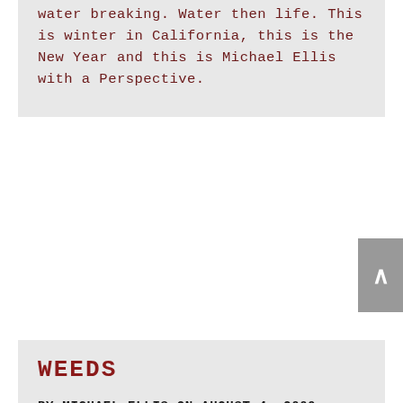water breaking. Water then life. This is winter in California, this is the New Year and this is Michael Ellis with a Perspective.
WEEDS
BY MICHAEL ELLIS ON AUGUST 4, 2009
Walt Whitman once said that a weed is a plant whose useful purposes have not yet been discovered. My dad, on the other hand, always said that anything growing in the yard